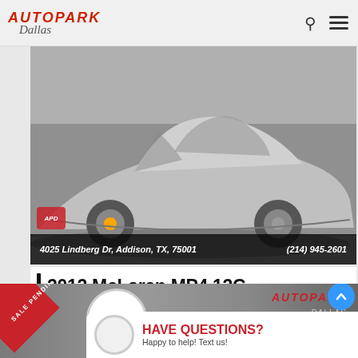Autopark Dallas — 4025 Lindberg Dr, Addison, TX, 75001 — (214) 945-2601
[Figure (photo): McLaren MP4 12C silver sports car, low angle shot, with dealership address and phone number overlay at bottom]
2012 McLaren MP4 12C
$99,995
DETAILS
[Figure (photo): Bottom banner showing Autopark Dallas branding with SALE PENDING ribbon, APD logo circle, chat bubble with text HAVE QUESTIONS? Happy to help! Text us!]
HAVE QUESTIONS?
Happy to help! Text us!